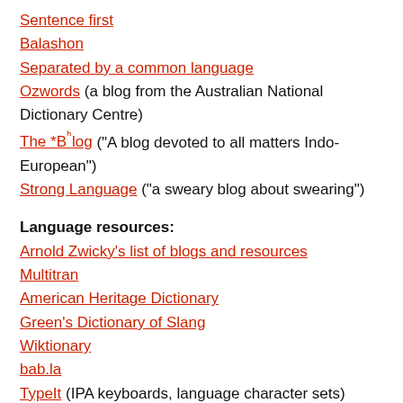Sentence first
Balashon
Separated by a common language
Ozwords (a blog from the Australian National Dictionary Centre)
The *Bʰlog ("A blog devoted to all matters Indo-European")
Strong Language ("a sweary blog about swearing")
Language resources:
Arnold Zwicky's list of blogs and resources
Multitran
American Heritage Dictionary
Green's Dictionary of Slang
Wiktionary
bab.la
TypeIt (IPA keyboards, language character sets)
Clickable IPA chart (by Weston Ruter)
Ethnologue
Wordorigins
Wikipedia:Reference desk/Language
Language Miniatures
Language References and Links
The sci.lang FAQ